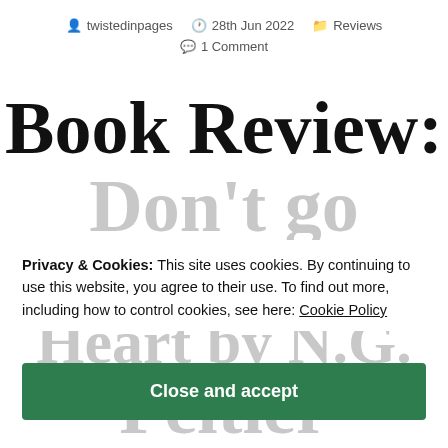twistedinpages  28th Jun 2022  Reviews  1 Comment
Book Review: Don't go Breaking my Heart by N.G. Peltier
Privacy & Cookies: This site uses cookies. By continuing to use this website, you agree to their use. To find out more, including how to control cookies, see here: Cookie Policy
Close and accept